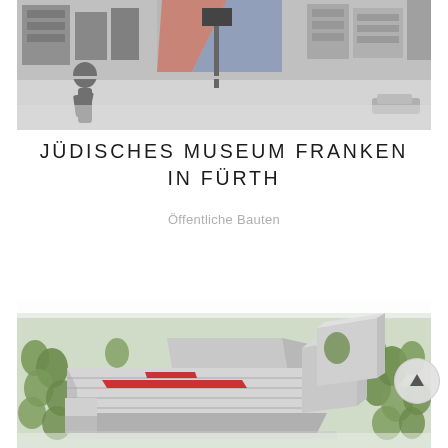[Figure (photo): Black and white architectural/street scene photo showing buildings, a silhouetted pedestrian figure, and urban street elements at the top of the page]
JÜDISCHES MUSEUM FRANKEN IN FÜRTH
Öffentliche Bauten
[Figure (illustration): Aerial perspective rendering of an architectural model for Jüdisches Museum Franken in Fürth, showing a long horizontal building with red accent elements, surrounded by green trees. A circular back-to-top button with an upward arrow appears in the lower right.]